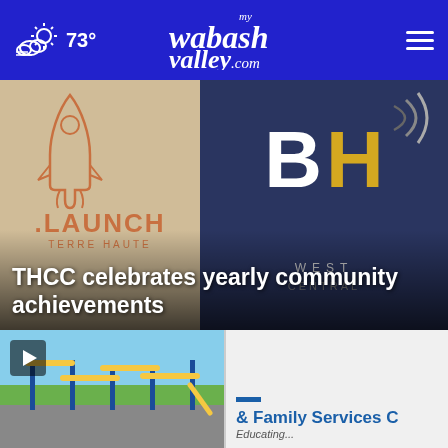73° mywabashvalley.com
[Figure (photo): Photo showing LAUNCH Terre Haute sign (rocket logo, orange text) on left and BH West Central sign (blue background, white B and gold H letters) on right]
THCC celebrates yearly community achievements
[Figure (photo): Thumbnail of playground equipment with yellow and blue bars, playground structures visible under blue sky]
[Figure (photo): Thumbnail showing '& Family Services C' text in blue with 'Educating...' subtitle on white/grey background]